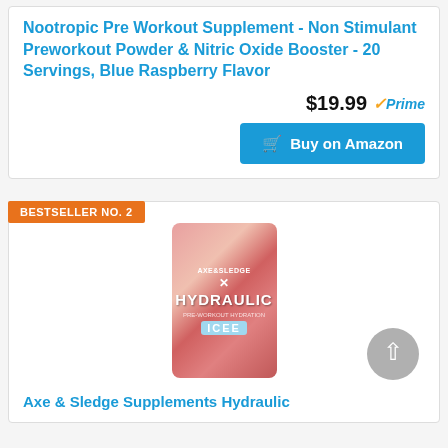Nootropic Pre Workout Supplement - Non Stimulant Preworkout Powder & Nitric Oxide Booster - 20 Servings, Blue Raspberry Flavor
$19.99 ✓Prime
Buy on Amazon
BESTSELLER NO. 2
[Figure (photo): Product photo of Axe & Sledge Supplements Hydraulic ICEE pre-workout powder container in red/pink packaging]
Axe & Sledge Supplements Hydraulic